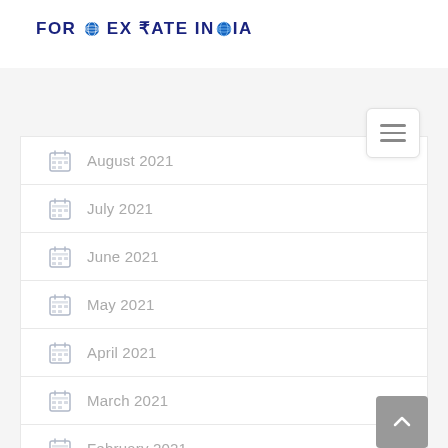FOREX RATE INDIA
August 2021
July 2021
June 2021
May 2021
April 2021
March 2021
February 2021
January 2021
December 2020